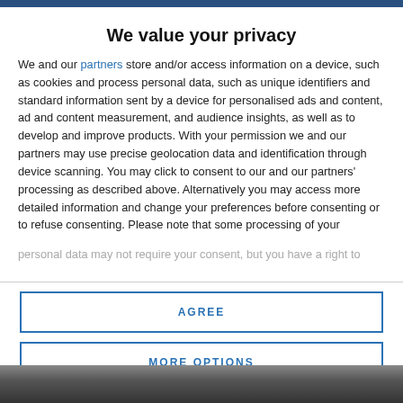We value your privacy
We and our partners store and/or access information on a device, such as cookies and process personal data, such as unique identifiers and standard information sent by a device for personalised ads and content, ad and content measurement, and audience insights, as well as to develop and improve products. With your permission we and our partners may use precise geolocation data and identification through device scanning. You may click to consent to our and our partners' processing as described above. Alternatively you may access more detailed information and change your preferences before consenting or to refuse consenting. Please note that some processing of your personal data may not require your consent, but you have a right to
AGREE
MORE OPTIONS
[Figure (photo): Partial photo visible at bottom of page, dark background]